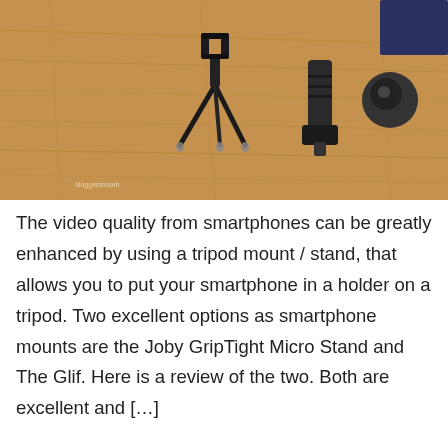[Figure (photo): Photo of smartphone tripod mount accessories laid on a wooden surface. Components include a small tripod stand, a phone holder/clamp, and a ball head mount adapter, all in black.]
The video quality from smartphones can be greatly enhanced by using a tripod mount / stand, that allows you to put your smartphone in a holder on a tripod. Two excellent options as smartphone mounts are the Joby GripTight Micro Stand and The Glif. Here is a review of the two. Both are excellent and […]